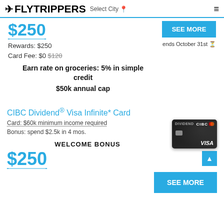FLYTRIPPERS Select City
$250
SEE MORE
Rewards: $250
ends October 31st
Card Fee: $0 $120
Earn rate on groceries: 5% in simple credit
$50k annual cap
CIBC Dividend® Visa Infinite* Card
Card: $60k minimum income required
Bonus: spend $2.5k in 4 mos.
WELCOME BONUS
$250
SEE MORE